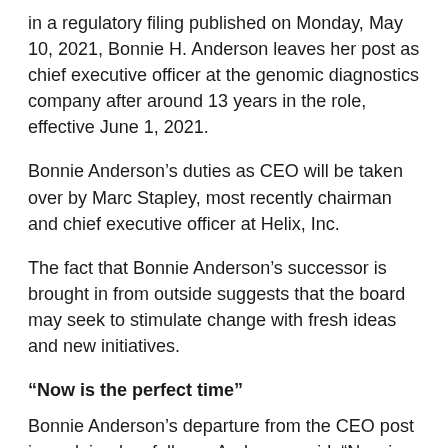in a regulatory filing published on Monday, May 10, 2021, Bonnie H. Anderson leaves her post as chief executive officer at the genomic diagnostics company after around 13 years in the role, effective June 1, 2021.
Bonnie Anderson's duties as CEO will be taken over by Marc Stapley, most recently chairman and chief executive officer at Helix, Inc.
The fact that Bonnie Anderson's successor is brought in from outside suggests that the board may seek to stimulate change with fresh ideas and new initiatives.
“Now is the perfect time”
Bonnie Anderson's departure from the CEO post is explained as follows. Anderson said: “Now is the perfect time to implement Veracyte’s CEO succession plan.”